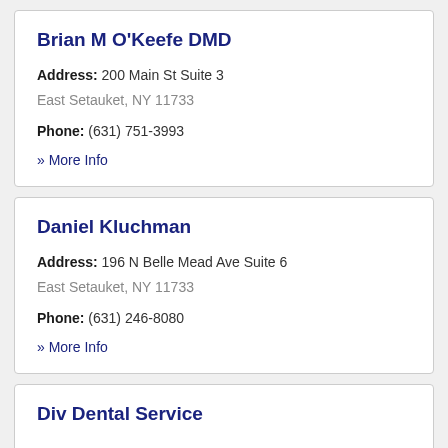Brian M O'Keefe DMD
Address: 200 Main St Suite 3
East Setauket, NY 11733
Phone: (631) 751-3993
» More Info
Daniel Kluchman
Address: 196 N Belle Mead Ave Suite 6
East Setauket, NY 11733
Phone: (631) 246-8080
» More Info
Div Dental Service